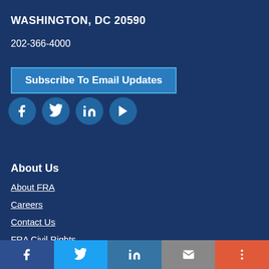WASHINGTON, DC 20590
202-366-4000
Subscribe To Email Updates
[Figure (infographic): Social media icons: Facebook, Twitter, LinkedIn, YouTube — white icons on blue circles]
About Us
About FRA
Careers
Contact Us
FRA Civil Rights
[Figure (infographic): Bottom social share bar with Facebook, Twitter, LinkedIn, Email, and More icons]